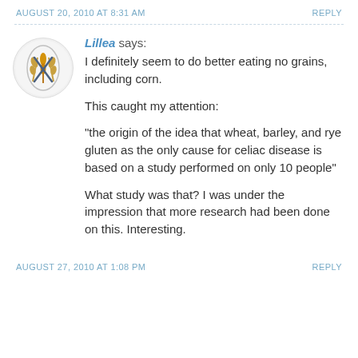AUGUST 20, 2010 AT 8:31 AM   REPLY
Lillea says: I definitely seem to do better eating no grains, including corn.

This caught my attention:

"the origin of the idea that wheat, barley, and rye gluten as the only cause for celiac disease is based on a study performed on only 10 people"

What study was that? I was under the impression that more research had been done on this. Interesting.
AUGUST 27, 2010 AT 1:08 PM   REPLY